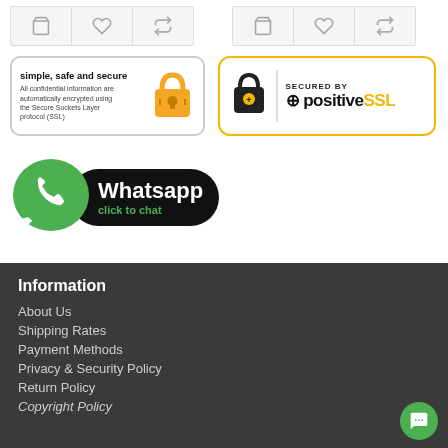[Figure (screenshot): Two product card icon bars with cart, wishlist, and compare icons]
[Figure (logo): Simple, safe and secure SSL badge with padlock icon and text: All confidential information are automatically encrypted using the Secure Sockets Layer protocol (SSL)]
[Figure (logo): Secured by positiveSSL badge with yellow border, padlock icon, and positiveSSL branding]
[Figure (logo): WhatsApp click to chat button with green WhatsApp logo bubble and black pill-shaped button]
Information
About Us
Shipping Rates
Payment Methods
Privacy & Security Policy
Return Policy
Copyright Policy